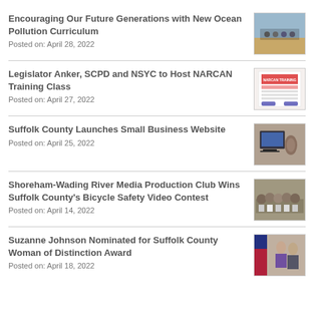Encouraging Our Future Generations with New Ocean Pollution Curriculum
Posted on: April 28, 2022
[Figure (photo): Group of people on a beach]
Legislator Anker, SCPD and NSYC to Host NARCAN Training Class
Posted on: April 27, 2022
[Figure (photo): NARCAN Training flyer/poster]
Suffolk County Launches Small Business Website
Posted on: April 25, 2022
[Figure (photo): Person at a computer]
Shoreham-Wading River Media Production Club Wins Suffolk County's Bicycle Safety Video Contest
Posted on: April 14, 2022
[Figure (photo): Group of people holding certificates]
Suzanne Johnson Nominated for Suffolk County Woman of Distinction Award
Posted on: April 18, 2022
[Figure (photo): Two people with an American flag in background]